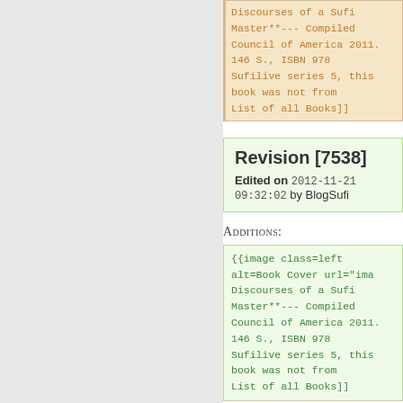Discourses of a Sufi Master**--- Compiled Council of America 2011. 146 S., ISBN 978 Sufilive series 5, this book was not from List of all Books]]
Revision [7538]
Edited on 2012-11-21 09:32:02 by BlogSufi
Additions:
{{image class=left alt=Book Cover url="ima Discourses of a Sufi Master**--- Compiled Council of America 2011. 146 S., ISBN 978 Sufilive series 5, this book was not from List of all Books]]
Deletions:
{{image class=left alt=Book Cover url="ima Discourses of a Sufi Master**--- Compiled